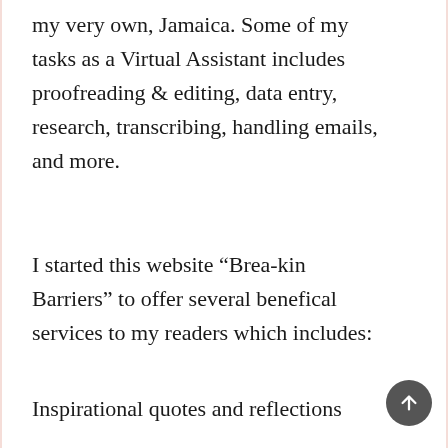my very own, Jamaica. Some of my tasks as a Virtual Assistant includes proofreading & editing, data entry, research, transcribing, handling emails, and more.
I started this website “Brea-kin Barriers” to offer several benefical services to my readers which includes:
Inspirational quotes and reflections